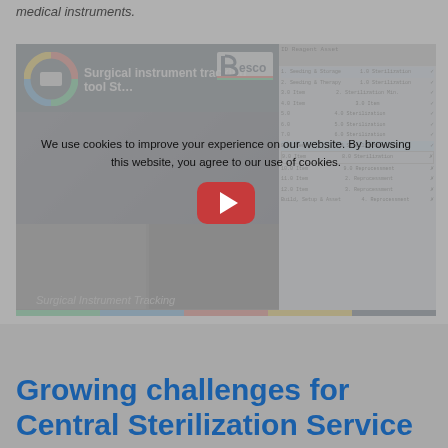medical instruments.
[Figure (screenshot): YouTube video thumbnail for 'Surgical instrument tracking tool St...' showing surgical instruments and a Besco tracking spreadsheet, with a cookie consent overlay and a red play button in the center. Below the video frame there is a subtitle 'Surgical Instrument Tracking'.]
We use cookies to improve your experience on our website. By browsing this website, you agree to our use of cookies.
Growing challenges for Central Sterilization Service